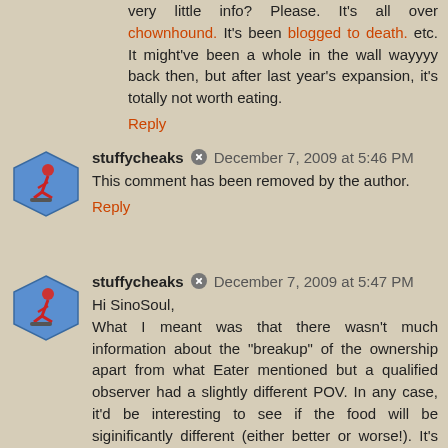very little info? Please. It's all over chownhound. It's been blogged to death. etc. It might've been a whole in the wall wayyyy back then, but after last year's expansion, it's totally not worth eating.
Reply
stuffycheaks  December 7, 2009 at 5:46 PM
This comment has been removed by the author.
Reply
stuffycheaks  December 7, 2009 at 5:47 PM
Hi SinoSoul,
What I meant was that there wasn't much information about the "breakup" of the ownership apart from what Eater mentioned but a qualified observer had a slightly different POV. In any case, it'd be interesting to see if the food will be siginificantly different (either better or worse!). It's too bad I never got to try them back in they heyday.
Reply